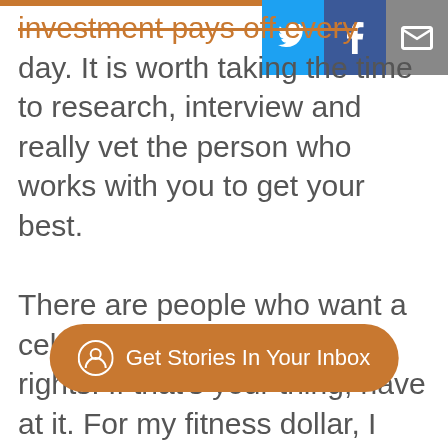investment pays off every day. It is worth taking the time to research, interview and really vet the person who works with you to get your best.

There are people who want a celebrity trainer for bragging rights. If that's your thing, have at it. For my fitness dollar, I want longevity, endurance, powerful muscles, and a fit body that will take me forward. A celebrity trainer can give me social cachet.
[Figure (infographic): Newsletter subscription pill button with envelope/user icon and text 'Get Stories In Your Inbox' on orange background]